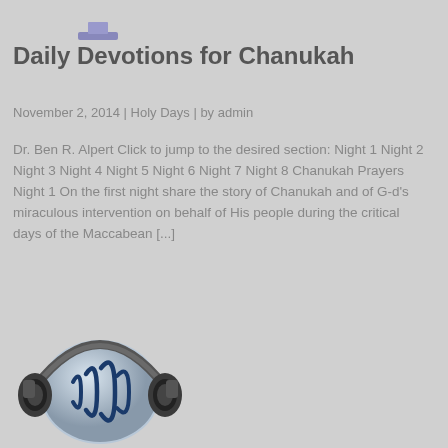[Figure (illustration): Menorah / candelabra illustration in purple/silver tones at top of page]
Daily Devotions for Chanukah
November 2, 2014 | Holy Days | by admin
Dr. Ben R. Alpert Click to jump to the desired section: Night 1 Night 2 Night 3 Night 4 Night 5 Night 6 Night 7 Night 8 Chanukah Prayers Night 1 On the first night share the story of Chanukah and of G-d's miraculous intervention on behalf of His people during the critical days of the Maccabean [...]
[Figure (illustration): Headphones icon with sound wave globe illustration in silver/dark tones]